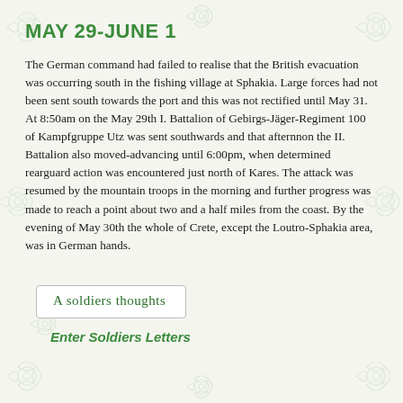MAY 29-JUNE 1
The German command had failed to realise that the British evacuation was occurring south in the fishing village at Sphakia. Large forces had not been sent south towards the port and this was not rectified until May 31. At 8:50am on the May 29th I. Battalion of Gebirgs-Jäger-Regiment 100 of Kampfgruppe Utz was sent southwards and that afternnon the II. Battalion also moved-advancing until 6:00pm, when determined rearguard action was encountered just north of Kares. The attack was resumed by the mountain troops in the morning and further progress was made to reach a point about two and a half miles from the coast. By the evening of May 30th the whole of Crete, except the Loutro-Sphakia area, was in German hands.
[Figure (illustration): A handwritten-style label reading 'A soldiers thoughts' inside a rectangular box with border]
Enter Soldiers Letters